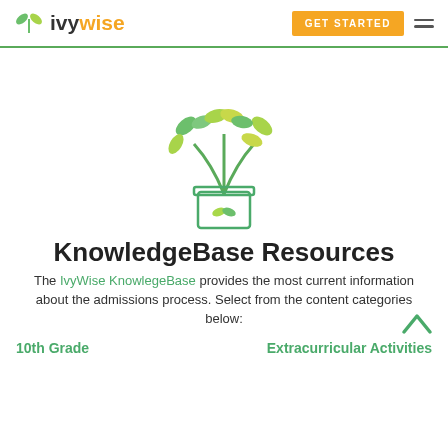IvyWise — GET STARTED
[Figure (illustration): IvyWise plant-in-pot logo illustration with green and yellow-green leaves on two stems growing from a square pot with the IvyWise leaf logo on the front]
KnowledgeBase Resources
The IvyWise KnowlegeBase provides the most current information about the admissions process. Select from the content categories below:
10th Grade
Extracurricular Activities